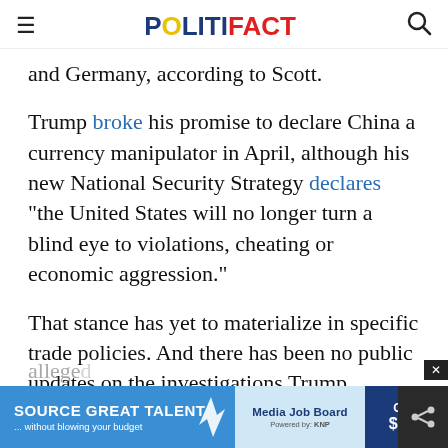POLITIFACT
and Germany, according to Scott.
Trump broke his promise to declare China a currency manipulator in April, although his new National Security Strategy declares "the United States will no longer turn a blind eye to violations, cheating or economic aggression."
That stance has yet to materialize in specific trade policies. And there has been no public updates on the investigations Trump directed into unfair steel trade practices or China's alleged...
[Figure (screenshot): Advertisement banner: SOURCE GREAT TALENT ...without blowing your budget, Media Job Board, Only $199]